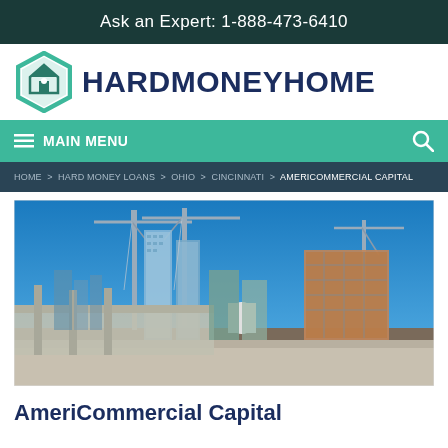Ask an Expert: 1-888-473-6410
[Figure (logo): HardMoneyHome logo with hexagon house icon in green/teal gradient and bold dark blue text]
MAIN MENU
HOME > HARD MONEY LOANS > OHIO > CINCINNATI > AMERICOMMERCIAL CAPITAL
[Figure (photo): Construction site with tall buildings, cranes, and blue sky]
AmeriCommercial Capital